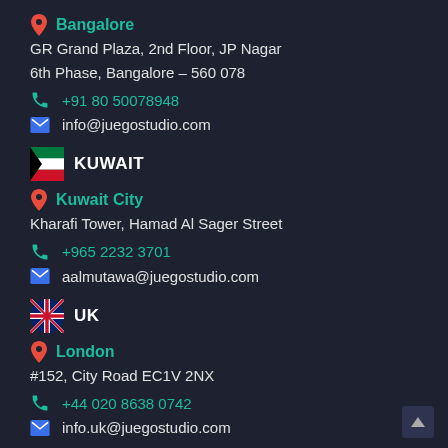Bangalore
GR Grand Plaza, 2nd Floor, JP Nagar
6th Phase, Bangalore – 560 078
+91 80 50078948
info@juegostudio.com
KUWAIT
Kuwait City
Kharafi Tower, Hamad Al Sager Street
+965 2232 3701
aalmutawa@juegostudio.com
UK
London
#152, City Road EC1V 2NX
+44 020 8638 0742
info.uk@juegostudio.com